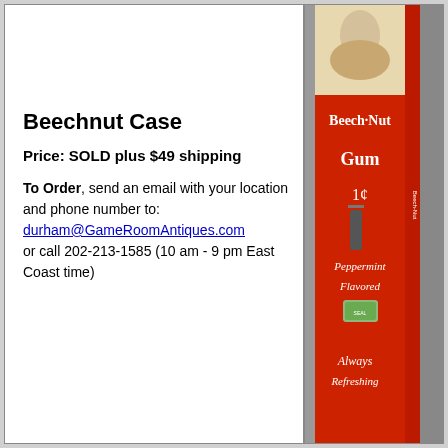Beechnut Case
Price: SOLD plus $49 shipping
To Order, send an email with your location and phone number to: durham@GameRoomAntiques.com or call 202-213-1585 (10 am - 9 pm East Coast time)
[Figure (photo): Vintage Beech-Nut Gum 1 cent Peppermint Flavored vending machine case, red with white text reading Beech-Nut Gum 1¢ Peppermint Flavored Always Refreshing]